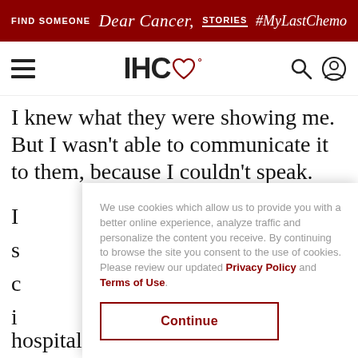FIND SOMEONE | Dear Cancer, | STORIES | #MyLastChemo
[Figure (logo): IHC logo with heart symbol]
I knew what they were showing me. But I wasn't able to communicate it to them, because I couldn't speak.
We use cookies which allow us to provide you with a better online experience, analyze traffic and personalize the content you receive. By continuing to browse the site you consent to the use of cookies. Please review our updated Privacy Policy and Terms of Use.
Continue
hospital and the toll all of this was taking